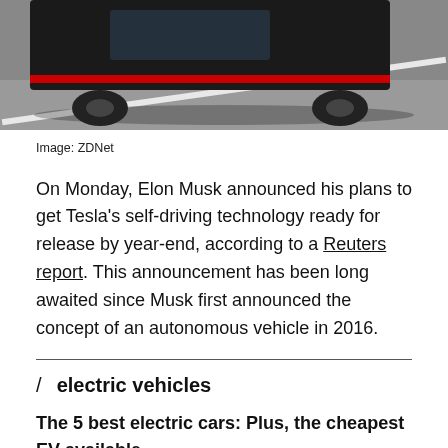[Figure (photo): Partial view of a Tesla car (black/red) on a road, cropped at top of page]
Image: ZDNet
On Monday, Elon Musk announced his plans to get Tesla's self-driving technology ready for release by year-end, according to a Reuters report. This announcement has been long awaited since Musk first announced the concept of an autonomous vehicle in 2016.
/ electric vehicles
The 5 best electric cars: Plus, the cheapest EV available